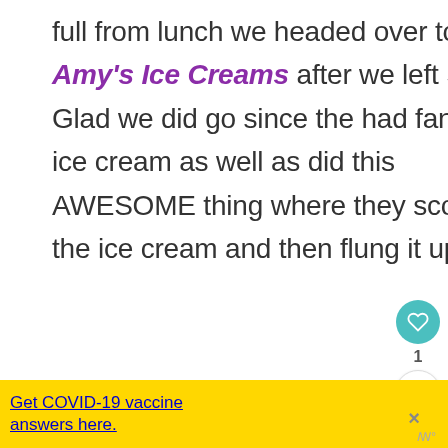full from lunch we headed over to Amy's Ice Creams after we left SoCo. Glad we did go since the had fantastic ice cream as well as did this AWESOME thing where they scooped the ice cream and then flung it up in
[Figure (screenshot): Heart/like button (teal circle with heart icon), count '1', and share button]
[Figure (infographic): WHAT'S NEXT arrow label with thumbnail image and text 'BBQ Chip Shake and...']
[Figure (infographic): Yellow ad banner: 'Get COVID-19 vaccine answers here.' with ad council and CDC logos, close button]